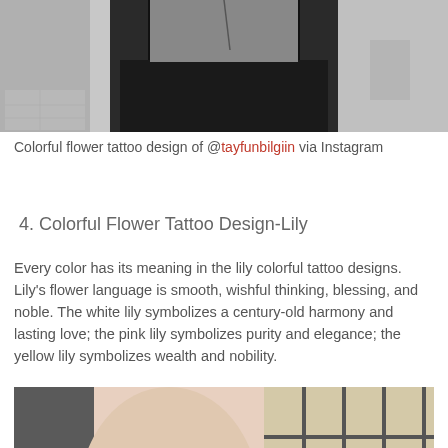[Figure (photo): Black and white photo of a person's upper back/shoulder area with what appears to be a tattoo, wearing a black strap top]
Colorful flower tattoo design of @tayfunbilgiin via Instagram
4. Colorful Flower Tattoo Design-Lily
Every color has its meaning in the lily colorful tattoo designs. Lily's flower language is smooth, wishful thinking, blessing, and noble. The white lily symbolizes a century-old harmony and lasting love; the pink lily symbolizes purity and elegance; the yellow lily symbolizes wealth and nobility.
[Figure (photo): Photo of a person's arm/wrist with a tattoo, sitting on what appears to be a couch, with a geometric grid pattern visible in the background]